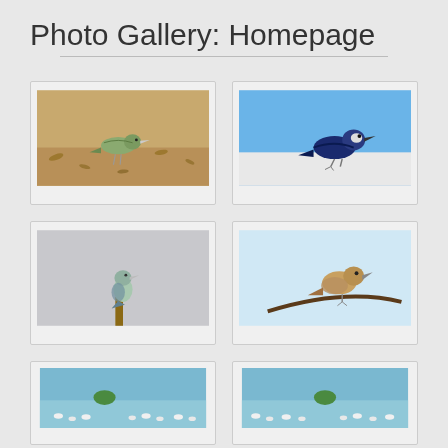Photo Gallery: Homepage
[Figure (photo): Bird on sandy ground with scattered leaves and debris, brownish-green bird (possibly a warbler or pipit) foraging on sandy soil]
[Figure (photo): Dark blue/black crow or starling perched on a white surface against a blue sky]
[Figure (photo): Small blue-green bird perched on a wooden post against a grey background]
[Figure (photo): Brown bird (shrike or sparrow) perched on a curved branch/wire against light blue sky]
[Figure (photo): Coastal scene with shallow water, small green shrub/mangrove, and white birds (terns or gulls) gathered on the shore]
[Figure (photo): Similar coastal scene with shallow water, small green shrub/mangrove, and white birds gathered on the shore]